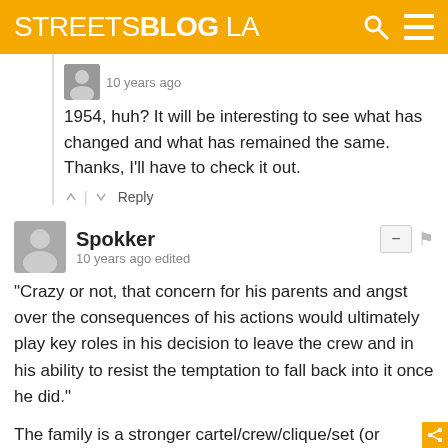STREETSBLOG LA
10 years ago
1954, huh? It will be interesting to see what has changed and what has remained the same. Thanks, I'll have to check it out.
Reply
Spokker
10 years ago edited
"Crazy or not, that concern for his parents and angst over the consequences of his actions would ultimately play key roles in his decision to leave the crew and in his ability to resist the temptation to fall back into it once he did."
The family is a stronger cartel/crew/clique/set (or whatever stupid name one wants to give these groups) than a gang. The problem is that the family structure broke down a long time ago in these areas. It's breaking down elsewhere too, as it has been widely reported that half of all children born to women under age 30 are born out of wedlock. This is going